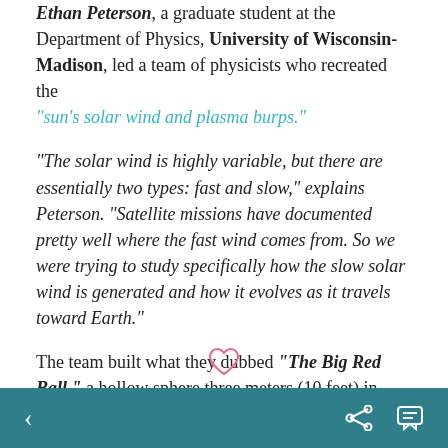Ethan Peterson, a graduate student at the Department of Physics, University of Wisconsin-Madison, led a team of physicists who recreated the "sun's solar wind and plasma burps."
"The solar wind is highly variable, but there are essentially two types: fast and slow," explains Peterson. "Satellite missions have documented pretty well where the fast wind comes from. So we were trying to study specifically how the slow solar wind is generated and how it evolves as it travels toward Earth."
The team built what they dubbed "The Big Red Ball," a hollow sphere three meters (10 feet) in diameter. This mini-sun is fitted with a strong magnet that, along with an electric current, ionizes helium gas particles to create a spinning super-hot plasma.
< share comment